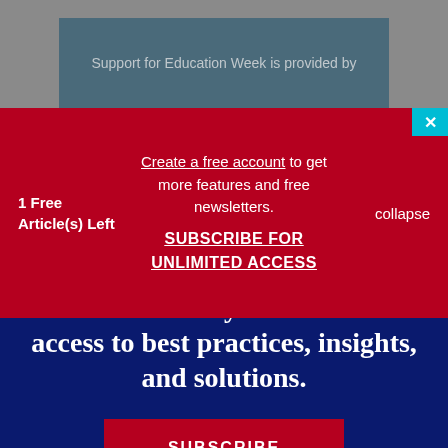Support for Education Week is provided by
1 Free Article(s) Left
Create a free account to get more features and free newsletters.
SUBSCRIBE FOR UNLIMITED ACCESS
collapse
Subscribe today for unlimited access to best practices, insights, and solutions.
SUBSCRIBE